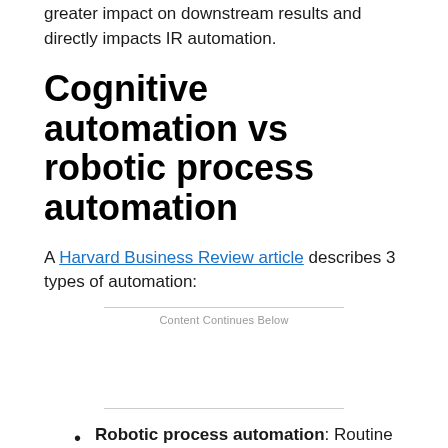greater impact on downstream results and directly impacts IR automation.
Cognitive automation vs robotic process automation
A Harvard Business Review article describes 3 types of automation:
Content Continues Below
Robotic process automation: Routine tasks, low complexity, wide application scope
Cognitive automation: Non-routine tasks,